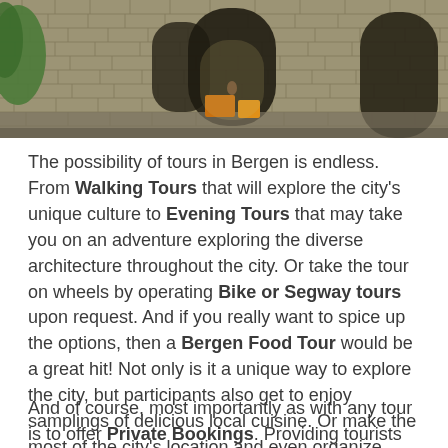[Figure (photo): Photograph of a stone fortress or castle wall with arched gateways, orange/yellow objects near the entrance, green foliage on the left, and a person visible in the background.]
The possibility of tours in Bergen is endless. From Walking Tours that will explore the city's unique culture to Evening Tours that may take you on an adventure exploring the diverse architecture throughout the city. Or take the tour on wheels by operating Bike or Segway tours upon request. And if you really want to spice up the options, then a Bergen Food Tour would be a great hit! Not only is it a unique way to explore the city, but participants also get to enjoy samplings of delicious local cuisine. Or make the most of the city's location and even organize sightseeing Boat Tours through the famous fjords.
And of course, most importantly as with any tour is to offer Private Bookings. Providing tourists with